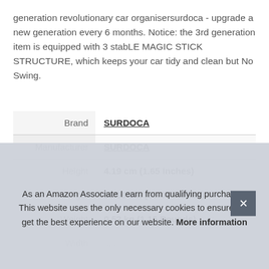generation revolutionary car organisersurdoca - upgrade a new generation every 6 months. Notice: the 3rd generation item is equipped with 3 stabLE MAGIC STICK STRUCTURE, which keeps your car tidy and clean but No Swing.
|  |  |
| --- | --- |
| Brand | SURDOCA |
| Manufacturer | SURDOCA |
| Height | 4.19 cm (1.65 Inches) |
| Length | 89.99 cm (35.43 Inches) |
| Weight | 0.52 kg (1.15 Pounds) |
| Width | ... |
As an Amazon Associate I earn from qualifying purchases. This website uses the only necessary cookies to ensure you get the best experience on our website. More information
More information